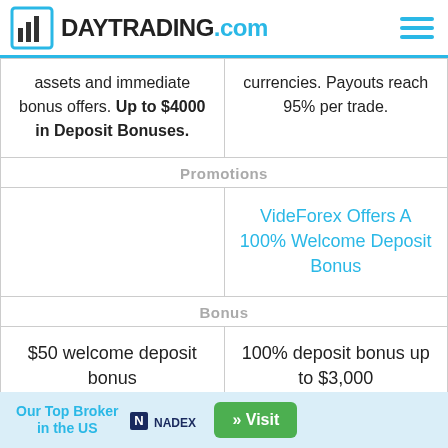DAYTRADING.com
assets and immediate bonus offers. Up to $4000 in Deposit Bonuses.
currencies. Payouts reach 95% per trade.
Promotions
VideForex Offers A 100% Welcome Deposit Bonus
Bonus
$50 welcome deposit bonus
100% deposit bonus up to $3,000
Instruments
Shares, forex, commodities, indices,
Forex, CFDs, indices, shares, commodities
Our Top Broker in the US  NADEX  » Visit